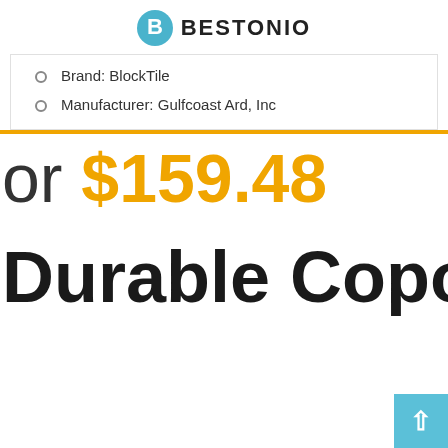BESTONIO
Brand: BlockTile
Manufacturer: Gulfcoast Ard, Inc
or $159.48
Durable Copolyn